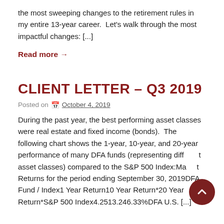the most sweeping changes to the retirement rules in my entire 13-year career.  Let's walk through the most impactful changes: [...]
Read more →
CLIENT LETTER – Q3 2019
Posted on October 4, 2019
During the past year, the best performing asset classes were real estate and fixed income (bonds).  The following chart shows the 1-year, 10-year, and 20-year performance of many DFA funds (representing different asset classes) compared to the S&P 500 Index:Market Returns for the period ending September 30, 2019DFA Fund / Index1 Year Return10 Year Return*20 Year Return*S&P 500 Index4.2513.246.33%DFA U.S. [...]
[Figure (other): Scroll-to-top button (dark red circular button with upward chevron arrow)]